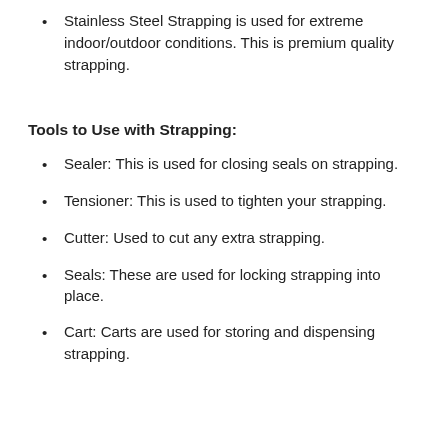Stainless Steel Strapping is used for extreme indoor/outdoor conditions. This is premium quality strapping.
Tools to Use with Strapping:
Sealer: This is used for closing seals on strapping.
Tensioner: This is used to tighten your strapping.
Cutter: Used to cut any extra strapping.
Seals: These are used for locking strapping into place.
Cart: Carts are used for storing and dispensing strapping.